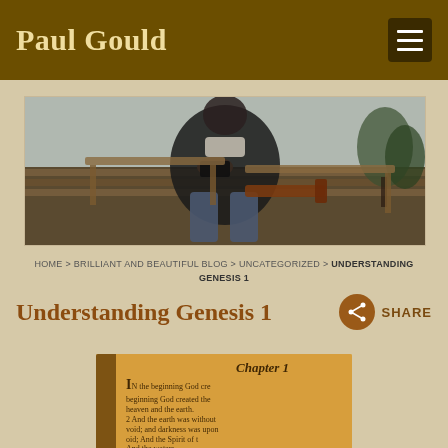Paul Gould
[Figure (photo): Person sitting on a wooden bench outdoors reading a book, trees visible in background]
HOME > BRILLIANT AND BEAUTIFUL BLOG > UNCATEGORIZED > UNDERSTANDING GENESIS 1
Understanding Genesis 1
[Figure (photo): Close-up of Bible open to Genesis Chapter 1, warm golden tones, text partially visible: 'In the beginning God created the heaven and the earth. And the earth was without form and void; and darkness was upon the face of the waters. And the Spirit of God...']